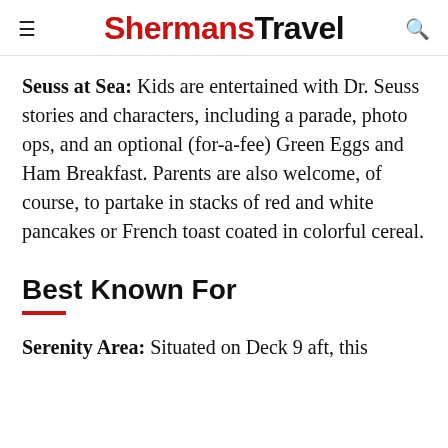ShermansTravel
Seuss at Sea: Kids are entertained with Dr. Seuss stories and characters, including a parade, photo ops, and an optional (for-a-fee) Green Eggs and Ham Breakfast. Parents are also welcome, of course, to partake in stacks of red and white pancakes or French toast coated in colorful cereal.
Best Known For
Serenity Area: Situated on Deck 9 aft, this